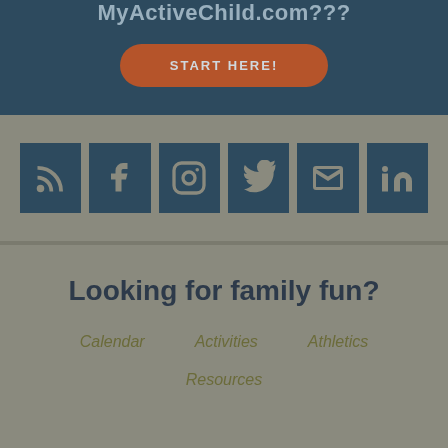MyActiveChild.com???
[Figure (other): Orange rounded button with text START HERE!]
[Figure (other): Row of 6 social media icons (RSS, Facebook, Instagram, Twitter, Email, LinkedIn) on dark teal square backgrounds]
Looking for family fun?
Calendar
Activities
Athletics
Resources